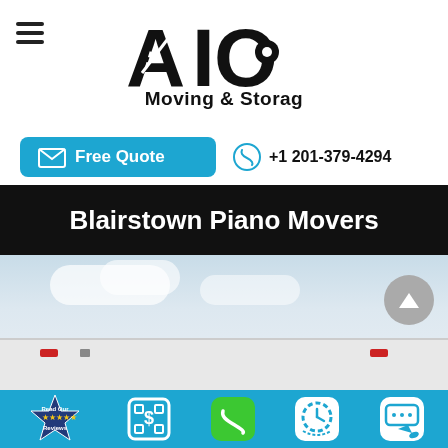[Figure (logo): AIO Moving & Storage company logo with stylized letters A, I, O]
[Figure (other): Free Quote button (blue) with envelope icon, and phone number +1 201-379-4294 with phone icon]
Blairstown Piano Movers
[Figure (photo): Photo of a moving truck against a partly cloudy sky, with a scroll-up arrow button overlay]
[Figure (other): Bottom navigation bar with icons: Read Our Reviews (badge), dollar sign (estimate), phone (green), clock (schedule), chat/SMS]